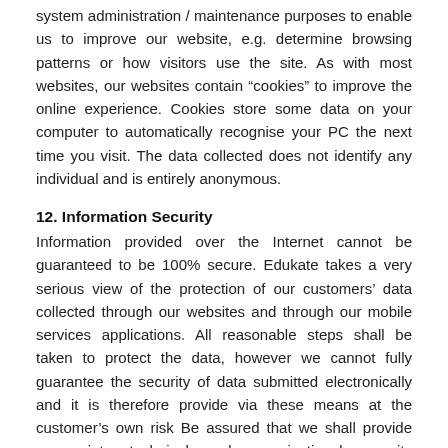system administration / maintenance purposes to enable us to improve our website, e.g. determine browsing patterns or how visitors use the site. As with most websites, our websites contain “cookies” to improve the online experience. Cookies store some data on your computer to automatically recognise your PC the next time you visit. The data collected does not identify any individual and is entirely anonymous.
12. Information Security
Information provided over the Internet cannot be guaranteed to be 100% secure. Edukate takes a very serious view of the protection of our customers’ data collected through our websites and through our mobile services applications. All reasonable steps shall be taken to protect the data, however we cannot fully guarantee the security of data submitted electronically and it is therefore provide via these means at the customer’s own risk Be assured that we shall provide appropriate technical and organisational security measures to protect data that is collected on our servers.
13. Links to other websites